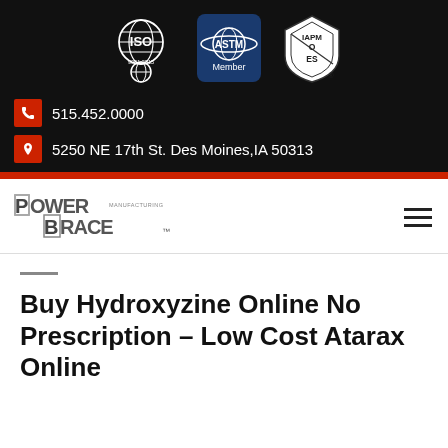[Figure (logo): ISO 9001:2015, ASTM Member, and IAPMO ES certification logos on black background]
515.452.0000
5250 NE 17th St. Des Moines,IA 50313
[Figure (logo): Power Brace Manufacturing company logo]
Buy Hydroxyzine Online No Prescription – Low Cost Atarax Online